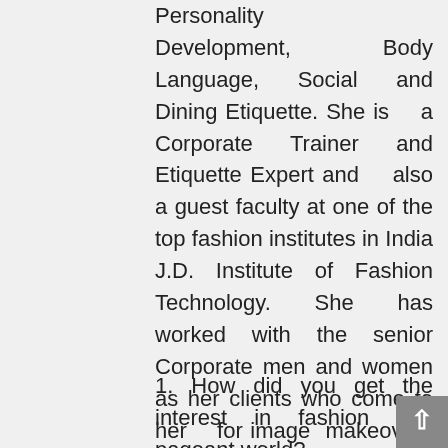Personality Development, Body Language, Social and Dining Etiquette. She is a Corporate Trainer and Etiquette Expert and also a guest faculty at one of the top fashion institutes in India J.D. Institute of Fashion Technology. She has worked with the senior Corporate men and women as her clients who come to her for image makeovers and Wardrobe Management and Personal Shopping as well.
1. How did you get the interest in fashion and pageant world?